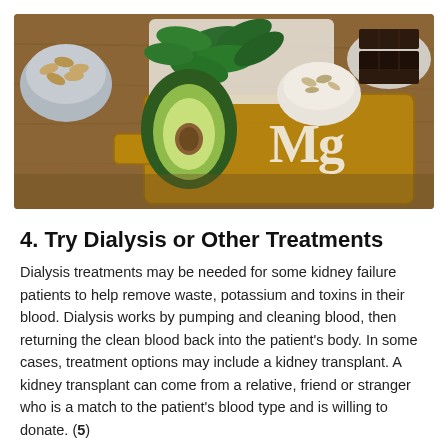[Figure (photo): Photo of magnesium-rich foods including almonds, spinach, avocado, oats/seeds, and dark chocolate arranged on a wooden cutting board with 'Mg' written in chalk on the board.]
4. Try Dialysis or Other Treatments
Dialysis treatments may be needed for some kidney failure patients to help remove waste, potassium and toxins in their blood. Dialysis works by pumping and cleaning blood, then returning the clean blood back into the patient's body. In some cases, treatment options may include a kidney transplant. A kidney transplant can come from a relative, friend or stranger who is a match to the patient's blood type and is willing to donate. (5)